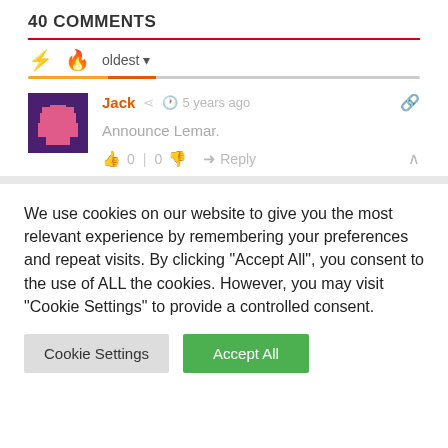40 COMMENTS
Jack  5 years ago
Announce Lemar.
0 | 0  Reply
We use cookies on our website to give you the most relevant experience by remembering your preferences and repeat visits. By clicking "Accept All", you consent to the use of ALL the cookies. However, you may visit "Cookie Settings" to provide a controlled consent.
Cookie Settings   Accept All